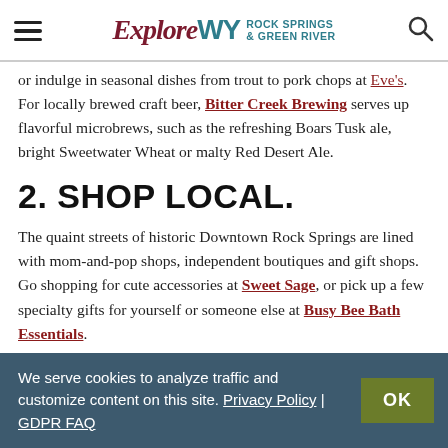ExploreWY Rock Springs & Green River
or indulge in seasonal dishes from trout to pork chops at Eve's. For locally brewed craft beer, Bitter Creek Brewing serves up flavorful microbrews, such as the refreshing Boars Tusk ale, bright Sweetwater Wheat or malty Red Desert Ale.
2. SHOP LOCAL.
The quaint streets of historic Downtown Rock Springs are lined with mom-and-pop shops, independent boutiques and gift shops. Go shopping for cute accessories at Sweet Sage, or pick up a few specialty gifts for yourself or someone else at Busy Bee Bath Essentials.
We serve cookies to analyze traffic and customize content on this site. Privacy Policy | GDPR FAQ